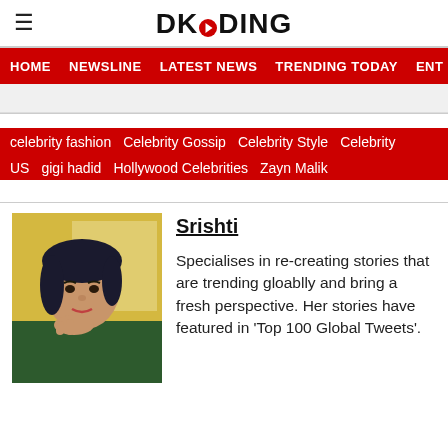DKODING
HOME  NEWSLINE  LATEST NEWS  TRENDING TODAY  ENT
[Figure (other): Gray advertisement banner area]
celebrity fashion
Celebrity Gossip
Celebrity Style
Celebrity
US
gigi hadid
Hollywood Celebrities
Zayn Malik
[Figure (photo): Photo of author Srishti, a young woman with dark hair resting her chin on her hand, wearing a dark green top, with a yellow background]
Srishti
Specialises in re-creating stories that are trending gloablly and bring a fresh perspective. Her stories have featured in 'Top 100 Global Tweets'.